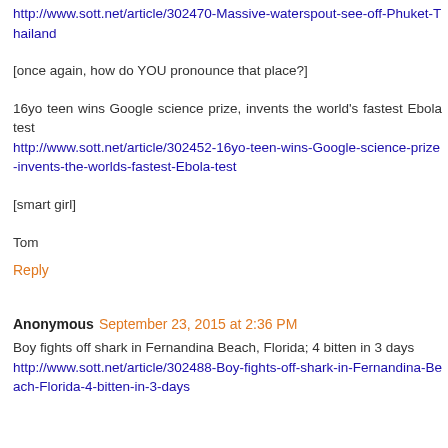http://www.sott.net/article/302470-Massive-waterspout-see-off-Phuket-Thailand
[once again, how do YOU pronounce that place?]
16yo teen wins Google science prize, invents the world's fastest Ebola test
http://www.sott.net/article/302452-16yo-teen-wins-Google-science-prize-invents-the-worlds-fastest-Ebola-test
[smart girl]
Tom
Reply
Anonymous September 23, 2015 at 2:36 PM
Boy fights off shark in Fernandina Beach, Florida; 4 bitten in 3 days
http://www.sott.net/article/302488-Boy-fights-off-shark-in-Fernandina-Beach-Florida-4-bitten-in-3-days